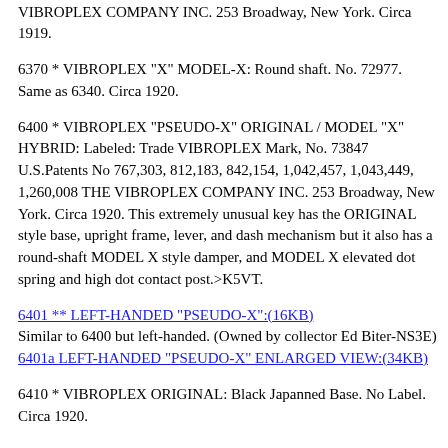Labeled: Trade VIBROPLEX Mark, No. 72216 U.S.Patents No 767,303, 812,183, 842,154, 1,042,457, 1,043,449, 1,260,008 THE VIBROPLEX COMPANY INC. 253 Broadway, New York. Circa 1919.
6370 * VIBROPLEX "X" MODEL-X: Round shaft. No. 72977. Same as 6340. Circa 1920.
6400 * VIBROPLEX "PSEUDO-X" ORIGINAL / MODEL "X" HYBRID: Labeled: Trade VIBROPLEX Mark, No. 73847 U.S.Patents No 767,303, 812,183, 842,154, 1,042,457, 1,043,449, 1,260,008 THE VIBROPLEX COMPANY INC. 253 Broadway, New York. Circa 1920. This extremely unusual key has the ORIGINAL style base, upright frame, lever, and dash mechanism but it also has a round-shaft MODEL X style damper, and MODEL X elevated dot spring and high dot contact post.>K5VT.
6401 ** LEFT-HANDED "PSEUDO-X":(16KB)
Similar to 6400 but left-handed. (Owned by collector Ed Biter-NS3E)
6401a LEFT-HANDED "PSEUDO-X" ENLARGED VIEW:(34KB)
6410 * VIBROPLEX ORIGINAL: Black Japanned Base. No Label. Circa 1920.